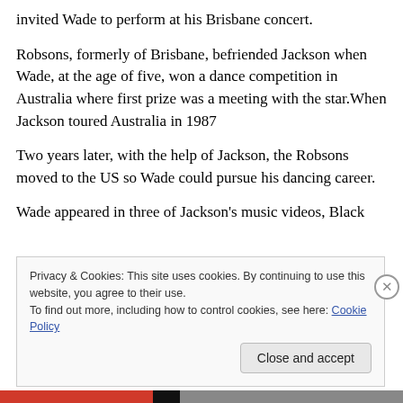invited Wade to perform at his Brisbane concert.
Robsons, formerly of Brisbane, befriended Jackson when Wade, at the age of five, won a dance competition in Australia where first prize was a meeting with the star.When Jackson toured Australia in 1987
Two years later, with the help of Jackson, the Robsons moved to the US so Wade could pursue his dancing career.
Wade appeared in three of Jackson’s music videos, Black
Privacy & Cookies: This site uses cookies. By continuing to use this website, you agree to their use.
To find out more, including how to control cookies, see here: Cookie Policy
Close and accept